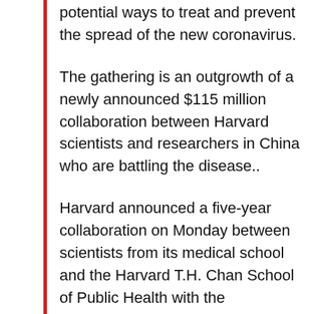potential ways to treat and prevent the spread of the new coronavirus.
The gathering is an outgrowth of a newly announced $115 million collaboration between Harvard scientists and researchers in China who are battling the disease..
Harvard announced a five-year collaboration on Monday between scientists from its medical school and the Harvard T.H. Chan School of Public Health with the Guangzhou Institute of Respiratory Disease. The director of the institute is Zhong Nanshan..
The collaboration will be bankrolled by China Evergrande Group, a Fortune Global 500 real estate